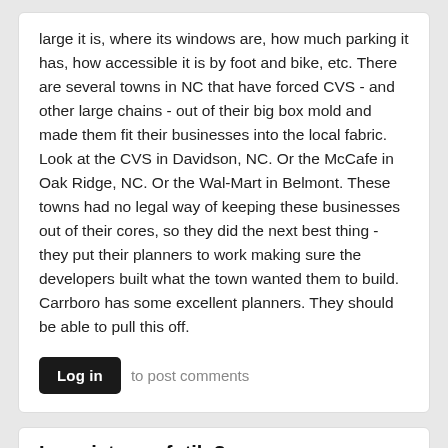large it is, where its windows are, how much parking it has, how accessible it is by foot and bike, etc. There are several towns in NC that have forced CVS - and other large chains - out of their big box mold and made them fit their businesses into the local fabric. Look at the CVS in Davidson, NC. Or the McCafe in Oak Ridge, NC. Or the Wal-Mart in Belmont. These towns had no legal way of keeping these businesses out of their cores, so they did the next best thing - they put their planners to work making sure the developers built what the town wanted them to build. Carrboro has some excellent planners. They should be able to pull this off.
Log in to post comments
Is resistance futile?
Submitted by Tubaboy on March 17, 2011 - 2:27pm
On what grounds could or would the BOA deny the upcoming CUP request? The CVS plan doesn't really throw up any red flags, it's hard to object just because we would all rather see something